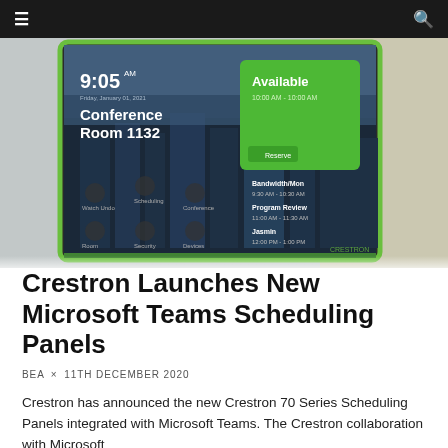≡  🔍
[Figure (screenshot): Screenshot of a Crestron conference room scheduling panel display showing 'Conference Room 1132', time '9:05 AM', and a green 'Available' status panel. The background shows a cityscape with tall buildings. Various icons and information are displayed at the bottom of the screen. The panel has a green border/frame.]
Crestron Launches New Microsoft Teams Scheduling Panels
BEA × 11TH DECEMBER 2020
Crestron has announced the new Crestron 70 Series Scheduling Panels integrated with Microsoft Teams. The Crestron collaboration with Microsoft